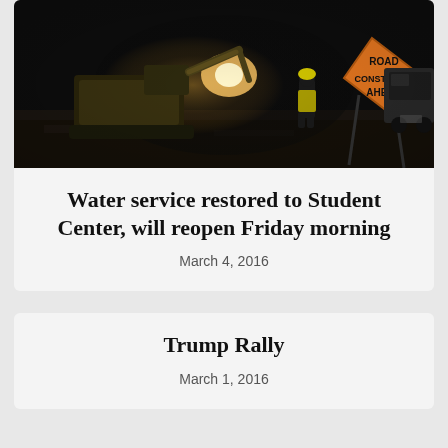[Figure (photo): Nighttime road construction scene with a bulldozer/excavator, a worker in a yellow safety vest, and an orange diamond-shaped 'ROAD CONSTRUCTION AHEAD' warning sign. A white van is visible in the background.]
Water service restored to Student Center, will reopen Friday morning
March 4, 2016
Trump Rally
March 1, 2016